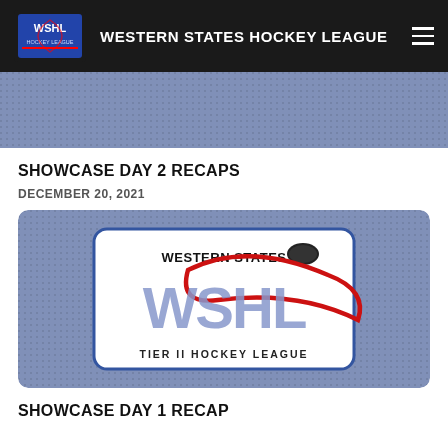WESTERN STATES HOCKEY LEAGUE
[Figure (photo): Blue textured hockey jersey fabric background banner image]
SHOWCASE DAY 2 RECAPS
DECEMBER 20, 2021
[Figure (logo): Western States WSHL Tier II Hockey League logo on blue textured background]
SHOWCASE DAY 1 RECAP